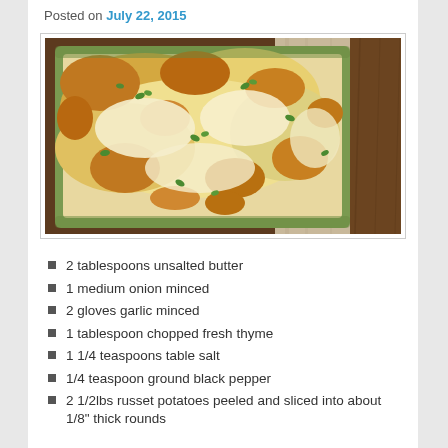Posted on July 22, 2015
[Figure (photo): A casserole dish with cheesy baked scalloped potatoes topped with melted browned cheese and chopped parsley, in a green baking dish on a wooden surface with a cloth.]
2 tablespoons unsalted butter
1 medium onion minced
2 gloves garlic minced
1 tablespoon chopped fresh thyme
1 1/4 teaspoons table salt
1/4 teaspoon ground black pepper
2 1/2lbs russet potatoes peeled and sliced into about 1/8" thick rounds